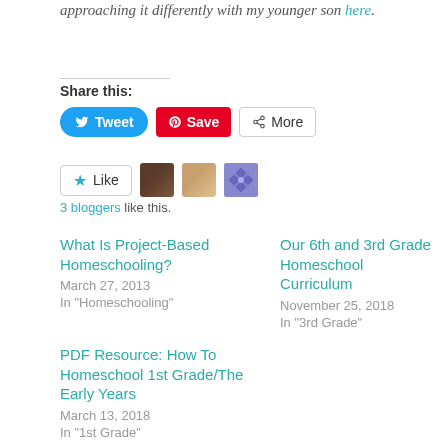approaching it differently with my younger son here.
Share this:
Tweet | Save | More
[Figure (other): Like button with star icon and three blogger avatar thumbnails]
3 bloggers like this.
What Is Project-Based Homeschooling?
March 27, 2013
In "Homeschooling"
Our 6th and 3rd Grade Homeschool Curriculum
November 25, 2018
In "3rd Grade"
PDF Resource: How To Homeschool 1st Grade/The Early Years
March 13, 2018
In "1st Grade"